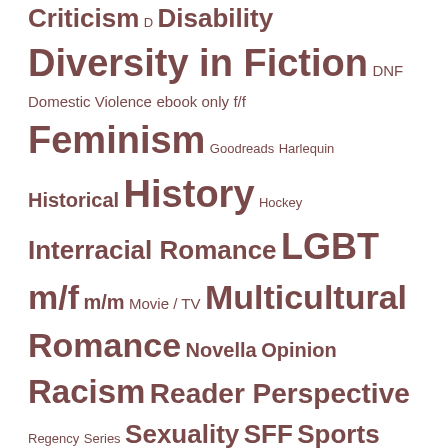Criticism D Disability Diversity in Fiction DNF Domestic Violence ebook only f/f Feminism Goodreads Harlequin Historical History Hockey Interracial Romance LGBT m/f m/m Movie / TV Multicultural Romance Novella Opinion Racism Reader Perspective Regency Series Sexuality SFF Sports Victorian Videogames WM WW
Recent Comments
http://www.rushessaysbest.com on Links: Me Before You Edition
Autism News, 2016/06/23 | Ada Hoffmann on Links: Me Before You Edition
Links of the Week 6/8/16 | Kink Praxis on Links: Me Before You Edition
Erin Burns on Links: Me Before You Edition